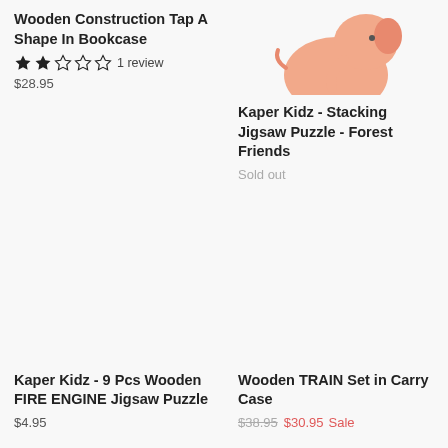Wooden Construction Tap A Shape In Bookcase
★★☆☆☆ 1 review
$28.95
[Figure (photo): Partial image of a peach/salmon colored elephant toy at top right]
Kaper Kidz - Stacking Jigsaw Puzzle - Forest Friends
Sold out
Kaper Kidz - 9 Pcs Wooden FIRE ENGINE Jigsaw Puzzle
$4.95
Wooden TRAIN Set in Carry Case
$38.95 $30.95 Sale